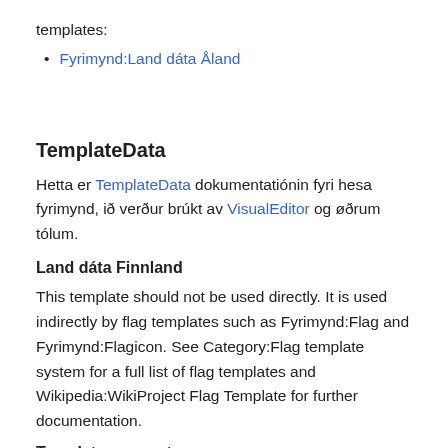templates:
Fyrimynd:Land dáta Åland
TemplateData
Hetta er TemplateData dokumentatiónin fyri hesa fyrimynd, ið verður brúkt av VisualEditor og øðrum tólum.
Land dáta Finnland
This template should not be used directly. It is used indirectly by flag templates such as Fyrimynd:Flag and Fyrimynd:Flagicon. See Category:Flag template system for a full list of flag templates and Wikipedia:WikiProject Flag Template for further documentation.
Template parameters